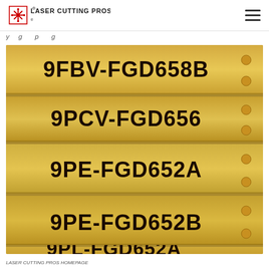Laser Cutting Pros
y g p g
[Figure (photo): Photo of gold/brass metal plates laser engraved with part numbers: 9FBV-FGD658B, 9PCV-FGD656, 9PE-FGD652A, 9PE-FGD652B, and partially visible bottom plate]
LASER CUTTING PROS HOMEPAGE